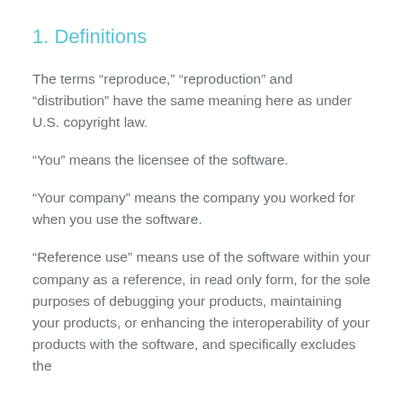1. Definitions
The terms “reduce,” “reproduction” and “distribution” have the same meaning here as under U.S. copyright law.
“You” means the licensee of the software.
“Your company” means the company you worked for when you use the software.
“Reference use” means use of the software within your company as a reference, in read only form, for the sole purposes of debugging your products, maintaining your products, or enhancing the interoperability of your products with the software, and specifically excludes the